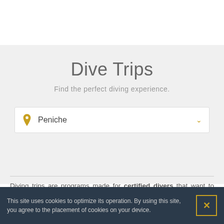Dive Trips
Find the perfect diving experience.
Peniche
Diving trips are programs made for certified divers that want to explore and enjoy the best dive spots in the Berlengas Natural Reserve in Peniche! The Berlengas archipelago is composed of three groups of
This site uses cookies to optimize its operation. By using this site, you agree to the placement of cookies on your device.